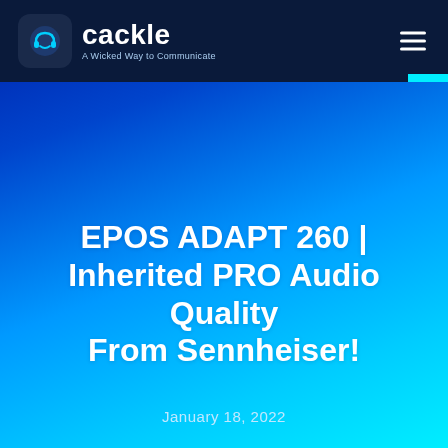cackle — A Wicked Way to Communicate
EPOS ADAPT 260 | Inherited PRO Audio Quality From Sennheiser!
January 18, 2022